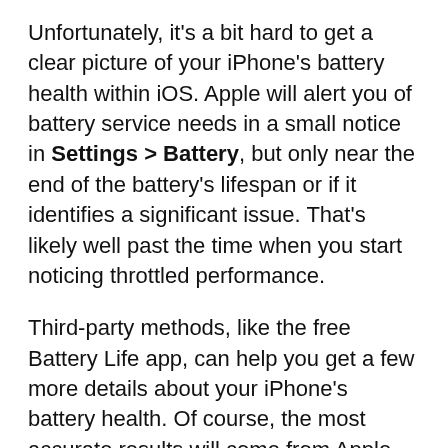Unfortunately, it's a bit hard to get a clear picture of your iPhone's battery health within iOS. Apple will alert you of battery service needs in a small notice in Settings > Battery, but only near the end of the battery's lifespan or if it identifies a significant issue. That's likely well past the time when you start noticing throttled performance.
Third-party methods, like the free Battery Life app, can help you get a few more details about your iPhone's battery health. Of course, the most accurate results will come from Apple itself, so it's probably smart to just contact them to assess your iPhone's battery. Even if they don't find any major issues, you might still opt to replace your battery on account of significantly decreased performance.
As for as how to get your battery replaced, there's one